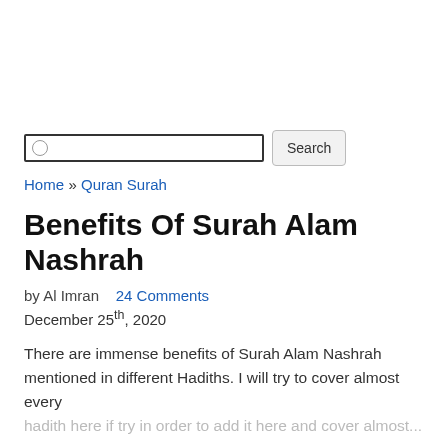Search (input field with Search button)
Home » Quran Surah
Benefits Of Surah Alam Nashrah
by Al Imran   24 Comments
December 25th, 2020
There are immense benefits of Surah Alam Nashrah mentioned in different Hadiths. I will try to cover almost every hadith here if trying...